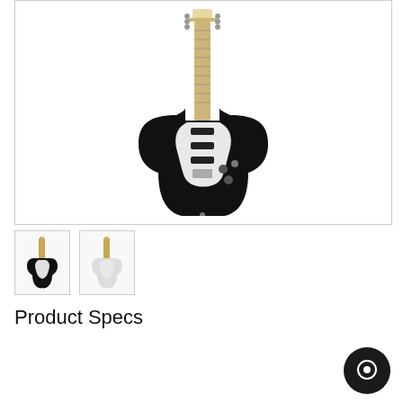[Figure (photo): Black Fender Billy Corgan Artist Series Signature Stratocaster electric guitar with white pickguard and maple fretboard, photographed against white background]
[Figure (photo): Two small thumbnail images of the guitar: one black version and one white version]
Product Specs
| Brand | Fender |
| Model | Billy Corgan Artist Series Signature Stratocaster |
| Finish | Black
Olympic White |